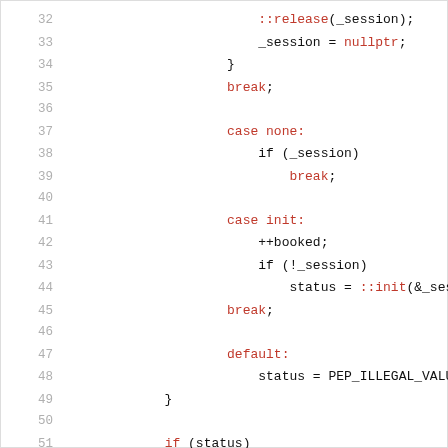[Figure (screenshot): Source code snippet (C++) showing lines 32-53 with line numbers on the left. Keywords and some identifiers are highlighted in red. Lines include: ::release(_session); _session = nullptr; } break; (blank) case none: if (_session) break; (blank) case init: ++booked; if (!_session) status = ::init(&_session, break; (blank) default: status = PEP_ILLEGAL_VALUE; } (blank) if (status) _throw_status(status); (blank line 53) and partial line 54.]